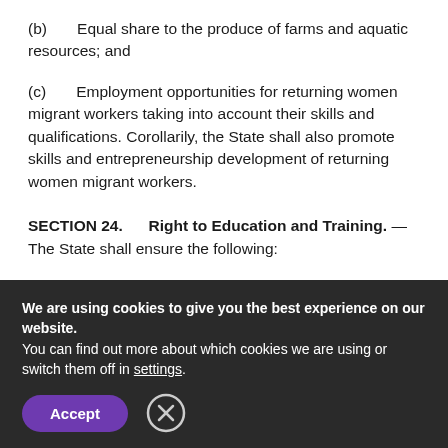(b)    Equal share to the produce of farms and aquatic resources; and
(c)    Employment opportunities for returning women migrant workers taking into account their skills and qualifications. Corollarily, the State shall also promote skills and entrepreneurship development of returning women migrant workers.
SECTION 24.    Right to Education and Training. — The State shall ensure the following:
We are using cookies to give you the best experience on our website.
You can find out more about which cookies we are using or switch them off in settings.